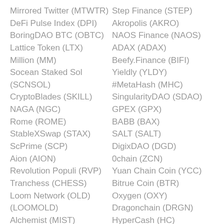Mirrored Twitter (MTWTR)
DeFi Pulse Index (DPI)
BoringDAO BTC (OBTC)
Lattice Token (LTX)
Million (MM)
Socean Staked Sol (SCNSOL)
CryptoBlades (SKILL)
NAGA (NGC)
Rome (ROME)
StableXSwap (STAX)
ScPrime (SCP)
Aion (AION)
Revolution Populi (RVP)
Tranchess (CHESS)
Loom Network (OLD) (LOOMOLD)
Alchemist (MIST)
Hotbit Token (HTB)
Step Finance (STEP)
Akropolis (AKRO)
NAOS Finance (NAOS)
ADAX (ADAX)
Beefy.Finance (BIFI)
Yieldly (YLDY)
#MetaHash (MHC)
SingularityDAO (SDAO)
GPEX (GPX)
BABB (BAX)
SALT (SALT)
DigixDAO (DGD)
0chain (ZCN)
Yuan Chain Coin (YCC)
Bitrue Coin (BTR)
Oxygen (OXY)
Dragonchain (DRGN)
HyperCash (HC)
Geist Finance (GEIST)